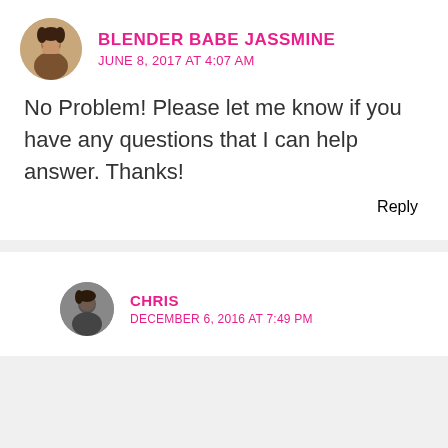BLENDER BABE JASSMINE
JUNE 8, 2017 AT 4:07 AM
No Problem! Please let me know if you have any questions that I can help answer. Thanks!
Reply
CHRIS
DECEMBER 6, 2016 AT 7:49 PM